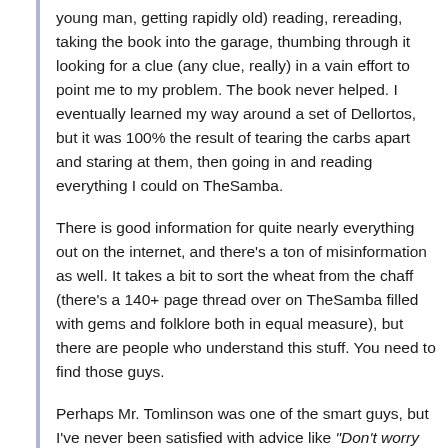young man, getting rapidly old) reading, rereading, taking the book into the garage, thumbing through it looking for a clue (any clue, really) in a vain effort to point me to my problem. The book never helped. I eventually learned my way around a set of Dellortos, but it was 100% the result of tearing the carbs apart and staring at them, then going in and reading everything I could on TheSamba.
There is good information for quite nearly everything out on the internet, and there's a ton of misinformation as well. It takes a bit to sort the wheat from the chaff (there's a 140+ page thread over on TheSamba filled with gems and folklore both in equal measure), but there are people who understand this stuff. You need to find those guys.
Perhaps Mr. Tomlinson was one of the smart guys, but I've never been satisfied with advice like "Don't worry about your carbs — the vintage Ford advice...